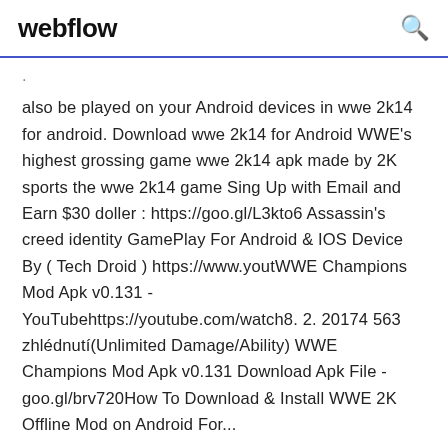webflow
also be played on your Android devices in wwe 2k14 for android. Download wwe 2k14 for Android WWE's highest grossing game wwe 2k14 apk made by 2K sports the wwe 2k14 game Sing Up with Email and Earn $30 doller : https://goo.gl/L3kto6 Assassin's creed identity GamePlay For Android & IOS Device By ( Tech Droid ) https://www.youtWWE Champions Mod Apk v0.131 - YouTubehttps://youtube.com/watch8. 2. 20174 563 zhlédnutí(Unlimited Damage/Ability) WWE Champions Mod Apk v0.131 Download Apk File - goo.gl/brv720How To Download & Install WWE 2K Offline Mod on Android For...